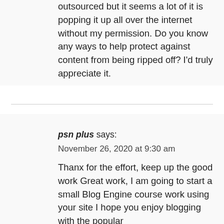outsourced but it seems a lot of it is popping it up all over the internet without my permission. Do you know any ways to help protect against content from being ripped off? I'd truly appreciate it.
psn plus says:
November 26, 2020 at 9:30 am
Thanx for the effort, keep up the good work Great work, I am going to start a small Blog Engine course work using your site I hope you enjoy blogging with the popular BlogEngine.net.Thethoughts you express are really awesome. Hope you